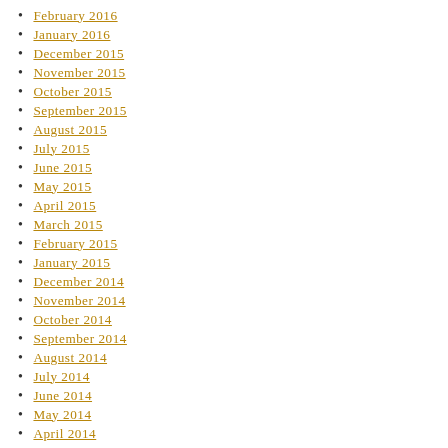February 2016
January 2016
December 2015
November 2015
October 2015
September 2015
August 2015
July 2015
June 2015
May 2015
April 2015
March 2015
February 2015
January 2015
December 2014
November 2014
October 2014
September 2014
August 2014
July 2014
June 2014
May 2014
April 2014
March 2014
February 2014
January 2014
December 2013